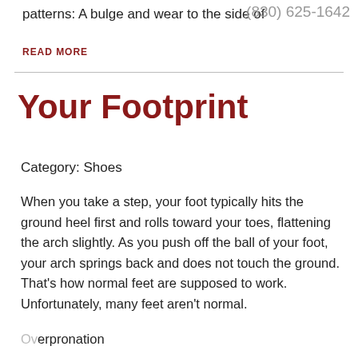patterns: A bulge and wear to the side of
(830) 625-1642
READ MORE
Your Footprint
Category: Shoes
When you take a step, your foot typically hits the ground heel first and rolls toward your toes, flattening the arch slightly. As you push off the ball of your foot, your arch springs back and does not touch the ground. That's how normal feet are supposed to work. Unfortunately, many feet aren't normal.
Overpronation